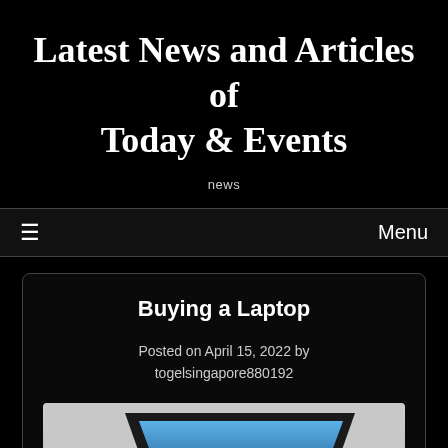Latest News and Articles of Today & Events
news
≡  Menu
Buying a Laptop
Posted on April 15, 2022 by togelsingapore880192
[Figure (photo): A laptop computer shown at an angle against a light gray background, with a blue sky gradient visible on the screen.]